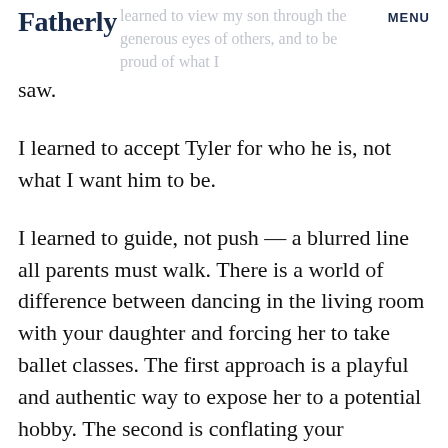Fatherly   MENU   learned to view my son through the generous eyes of others, and to be proud of what I saw.
I learned to accept Tyler for who he is, not what I want him to be.
I learned to guide, not push — a blurred line all parents must walk. There is a world of difference between dancing in the living room with your daughter and forcing her to take ballet classes. The first approach is a playful and authentic way to expose her to a potential hobby. The second is conflating your aspirations with hers.